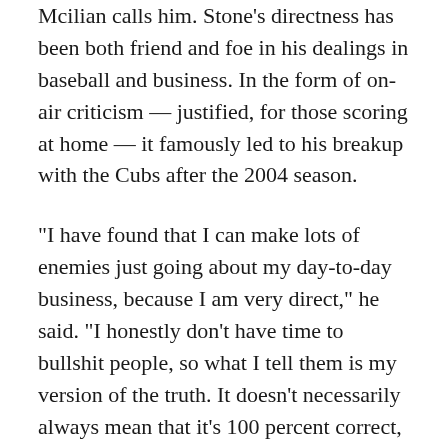Mcilian calls him. Stone's directness has been both friend and foe in his dealings in baseball and business. In the form of on-air criticism — justified, for those scoring at home — it famously led to his breakup with the Cubs after the 2004 season.
“I have found that I can make lots of enemies just going about my day-to-day business, because I am very direct,” he said. “I honestly don’t have time to bullshit people, so what I tell them is my version of the truth. It doesn’t necessarily always mean that it’s 100 percent correct, but I’m not telling them something that I don’t believe in. They can either accept it or not. I have friends who understand: I’m very honest, I’m very direct.”